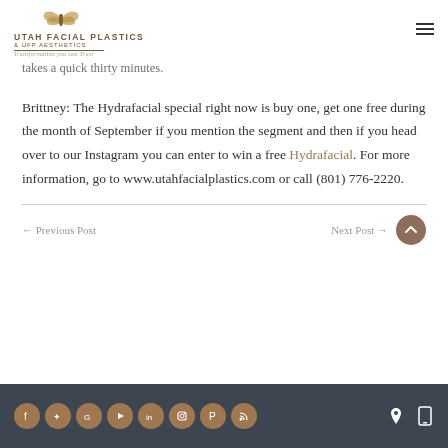UTAH FACIAL PLASTICS & UFP AESTHETICS — Transformation you can Trust
takes a quick thirty minutes.
Brittney: The Hydrafacial special right now is buy one, get one free during the month of September if you mention the segment and then if you head over to our Instagram you can enter to win a free Hydrafacial. For more information, go to www.utahfacialplastics.com or call (801) 776-2220.
← Previous Post | Next Post → | Social icons: Facebook, Twitter, Google, YouTube, LinkedIn, Instagram, Pinterest, RSS | Location, Mobile